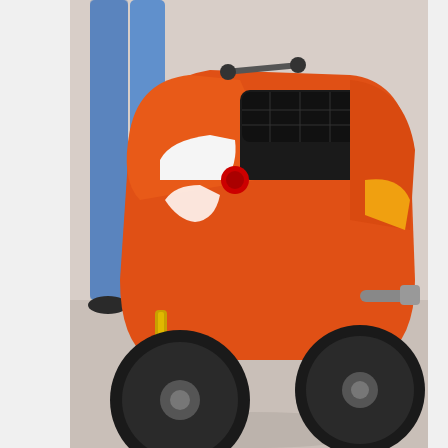[Figure (photo): Orange scooter/moped parked on pavement with a person's legs in jeans visible behind it. Watermark 'bikepics' in bottom right corner.]
daniel2009
Fri Mar 12, 2004 9:43 am
[Figure (photo): Partial view of a wooden log structure or fence with green trees visible in the background.]